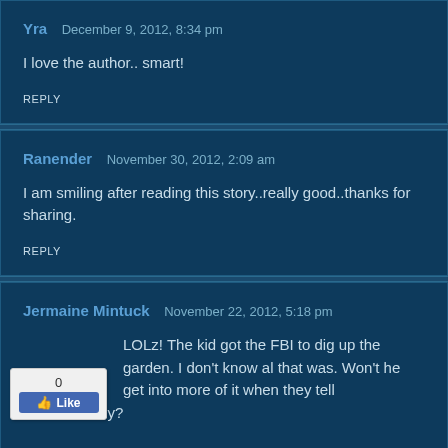Yra   December 9, 2012, 8:34 pm
I love the author.. smart!
REPLY
Ranender   November 30, 2012, 2:09 am
I am smiling after reading this story..really good..thanks for sharing.
REPLY
Jermaine Mintuck   November 22, 2012, 5:18 pm
LOLz! The kid got the FBI to dig up the garden. I don't know al that was. Won't he get into more of it when they tell didn't find any?
[Figure (other): Facebook Like button widget showing 0 likes]